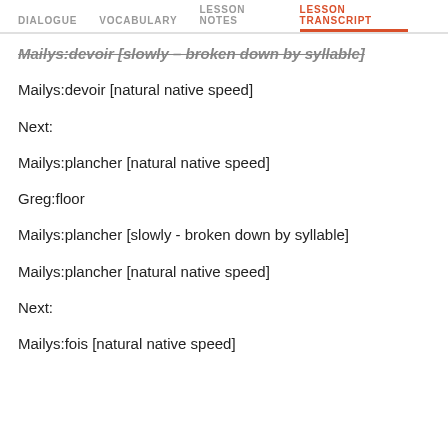DIALOGUE   VOCABULARY   LESSON NOTES   LESSON TRANSCRIPT
Mailys:devoir [slowly - broken down by syllable]
Mailys:devoir [natural native speed]
Next:
Mailys:plancher [natural native speed]
Greg:floor
Mailys:plancher [slowly - broken down by syllable]
Mailys:plancher [natural native speed]
Next:
Mailys:fois [natural native speed]